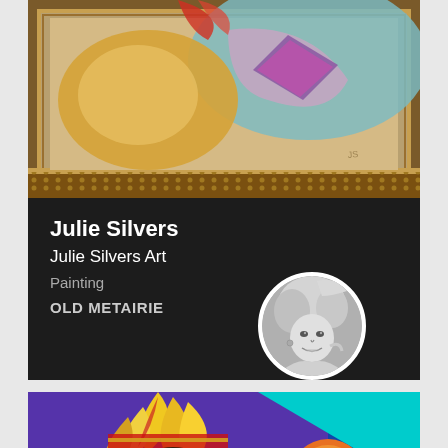[Figure (photo): Abstract painting in ornate gold-brown frame with colorful shapes — shown cropped at top of artist card]
Julie Silvers
Julie Silvers Art
Painting
OLD METAIRIE
[Figure (photo): Black and white circular portrait photo of a smiling blonde woman]
[Figure (photo): Colorful digital illustration of a Native American figure with feathered headdress, bold geometric shapes in cyan, magenta, yellow, purple, and blue]